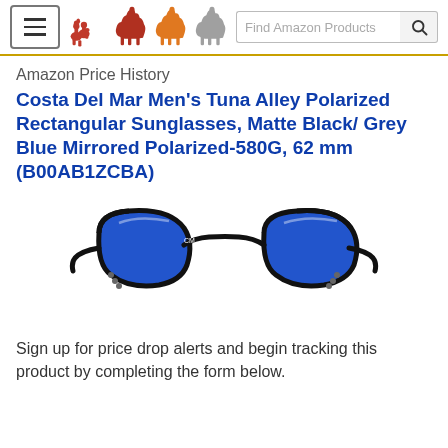[Figure (screenshot): CamelCamelCamel website header with hamburger menu, three camel logos (red, orange, grey), a search box labeled 'Find Amazon Products', and a search button.]
Amazon Price History
Costa Del Mar Men's Tuna Alley Polarized Rectangular Sunglasses, Matte Black/ Grey Blue Mirrored Polarized-580G, 62 mm (B00AB1ZCBA)
[Figure (photo): Photo of Costa Del Mar Tuna Alley sunglasses with black frames and blue mirrored lenses, viewed from the front against a white background.]
Sign up for price drop alerts and begin tracking this product by completing the form below.